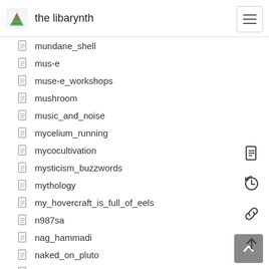the libarynth
mundane_shell
mus-e
muse-e_workshops
mushroom
music_and_noise
mycelium_running
mycocultivation
mysticism_buzzwords
mythology
my_hovercraft_is_full_of_eels
n987sa
nag_hammadi
naked_on_pluto
name_server_config
naming_things
nanowarrior
nasa_inflatables
natural_radio